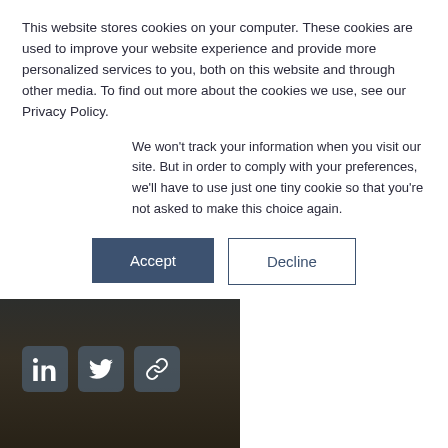This website stores cookies on your computer. These cookies are used to improve your website experience and provide more personalized services to you, both on this website and through other media. To find out more about the cookies we use, see our Privacy Policy.
We won't track your information when you visit our site. But in order to comply with your preferences, we'll have to use just one tiny cookie so that you're not asked to make this choice again.
Accept
Decline
Captive Insu... Fall Edition |
Kathleen H. Davis, J. Z... Mary K. Parent • Augu...
Careers
Resources
News & Events